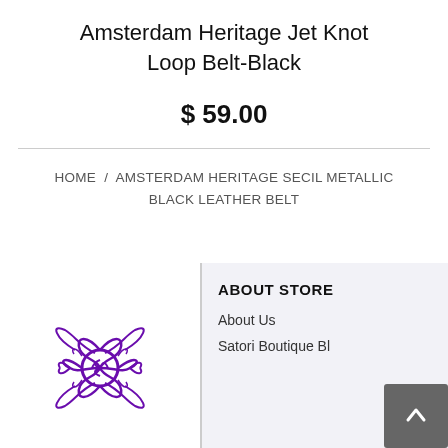Amsterdam Heritage Jet Knot Loop Belt-Black
$ 59.00
HOME / AMSTERDAM HERITAGE SECIL METALLIC BLACK LEATHER BELT
ABOUT STORE
About Us
Satori Boutique Blog
[Figure (logo): Purple decorative lotus/floral mandala logo for Satori Boutique]